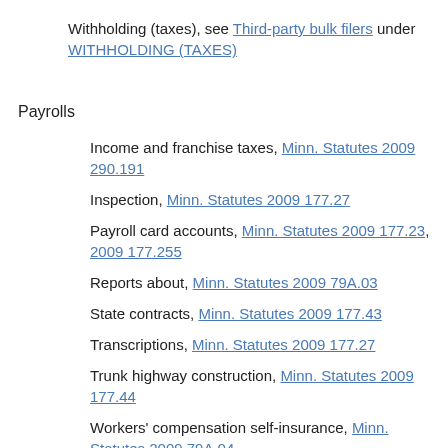Withholding (taxes), see Third-party bulk filers under WITHHOLDING (TAXES)
Payrolls
Income and franchise taxes, Minn. Statutes 2009 290.191
Inspection, Minn. Statutes 2009 177.27
Payroll card accounts, Minn. Statutes 2009 177.23, 2009 177.255
Reports about, Minn. Statutes 2009 79A.03
State contracts, Minn. Statutes 2009 177.43
Transcriptions, Minn. Statutes 2009 177.27
Trunk highway construction, Minn. Statutes 2009 177.44
Workers' compensation self-insurance, Minn. Statutes 2009 79A.04